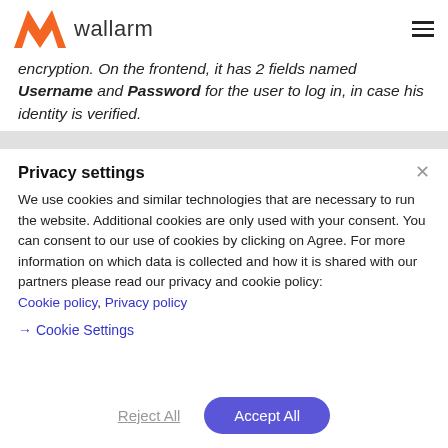wallarm
encryption. On the frontend, it has 2 fields named Username and Password for the user to log in, in case his identity is verified.
Privacy settings
We use cookies and similar technologies that are necessary to run the website. Additional cookies are only used with your consent. You can consent to our use of cookies by clicking on Agree. For more information on which data is collected and how it is shared with our partners please read our privacy and cookie policy: Cookie policy, Privacy policy
→ Cookie Settings
Reject All
Accept All